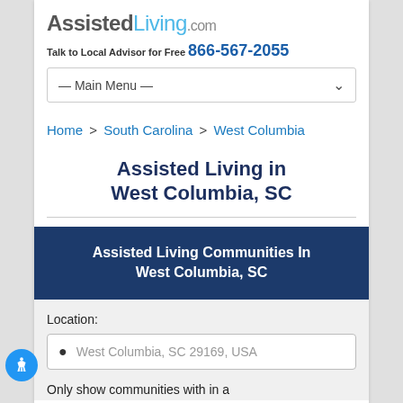AssistedLiving.com
Talk to Local Advisor for Free 866-567-2055
— Main Menu —
Home > South Carolina > West Columbia
Assisted Living in West Columbia, SC
Assisted Living Communities In West Columbia, SC
Location:
West Columbia, SC 29169, USA
Only show communities with in a